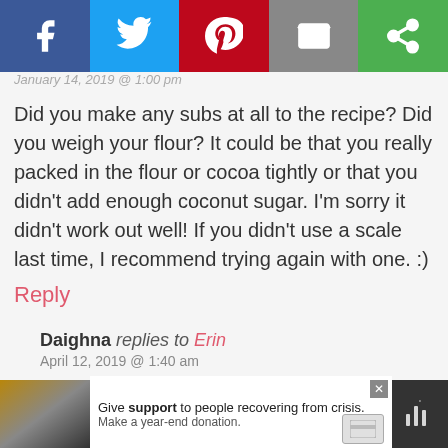[Figure (infographic): Social share bar with Facebook (blue), Twitter (light blue), Pinterest (red), Email (gray), and a green share icon button]
January 14, 2019 @ 1:00 pm
Did you make any subs at all to the recipe? Did you weigh your flour? It could be that you really packed in the flour or cocoa tightly or that you didn't add enough coconut sugar. I'm sorry it didn't work out well! If you didn't use a scale last time, I recommend trying again with one. :)
Reply
Daighna replies to Erin
April 12, 2019 @ 1:40 am
I've only made them once and I had this exact problem as well. I know my measurements were correct....is there some way to have known and remedied this before baking? Even though they
[Figure (infographic): Bottom advertisement banner: photo of family on left, text 'Give support to people recovering from crisis. Make a year-end donation.' with close button and credit card icon, and a dark logo on the right with audio wave icon]